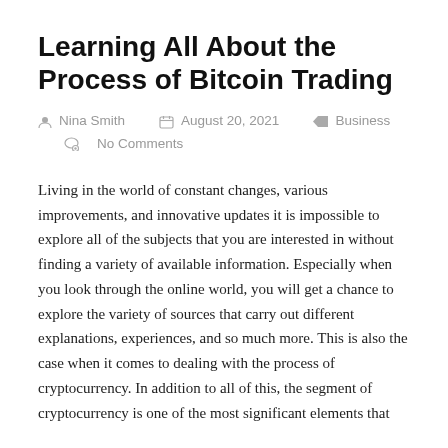Learning All About the Process of Bitcoin Trading
Nina Smith   August 20, 2021   Business   No Comments
Living in the world of constant changes, various improvements, and innovative updates it is impossible to explore all of the subjects that you are interested in without finding a variety of available information. Especially when you look through the online world, you will get a chance to explore the variety of sources that carry out different explanations, experiences, and so much more. This is also the case when it comes to dealing with the process of cryptocurrency. In addition to all of this, the segment of cryptocurrency is one of the most significant elements that